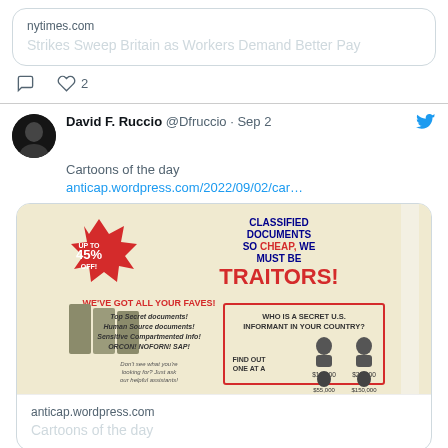[Figure (screenshot): Top portion of a tweet showing a link preview card for nytimes.com with headline 'Strikes Sweep Britain as Workers Demand Better Pay', with comment and like (2) action icons below.]
[Figure (screenshot): Tweet by David F. Ruccio (@Dfruccio, Sep 2) saying 'Cartoons of the day' with a link to anticap.wordpress.com/2022/09/02/car... A satirical advertisement-style cartoon image about classified documents is embedded, followed by a link preview card showing anticap.wordpress.com and 'Cartoons of the day'.]